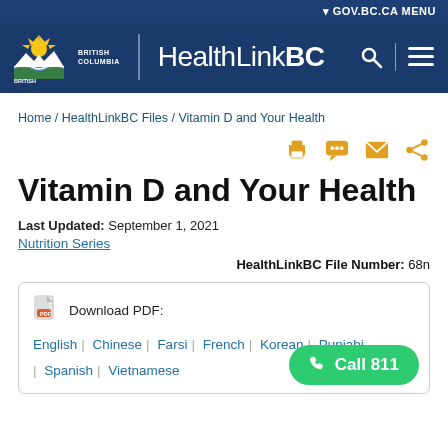GOV.BC.CA MENU | HealthLinkBC
Home / HealthLinkBC Files / Vitamin D and Your Health
Vitamin D and Your Health
Last Updated: September 1, 2021
Nutrition Series
HealthLinkBC File Number: 68n
Download PDF: English | Chinese | Farsi | French | Korean | Punjabi | Spanish | Vietnamese